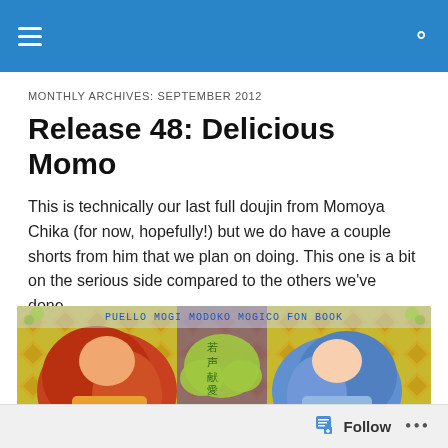Navigation bar with hamburger menu and search icon
MONTHLY ARCHIVES: SEPTEMBER 2012
Release 48: Delicious Momo
This is technically our last full doujin from Momoya Chika (for now, hopefully!) but we do have a couple shorts from him that we plan on doing. This one is a bit on the serious side compared to the others we've done.
[Figure (illustration): Anime-style fan book cover showing two characters from Puella Magi Madoka Magica, with text reading 'PUELLA MAGI MADOKA MAGICA FAN BOOK' across the top, colorful patterned background]
Follow ...